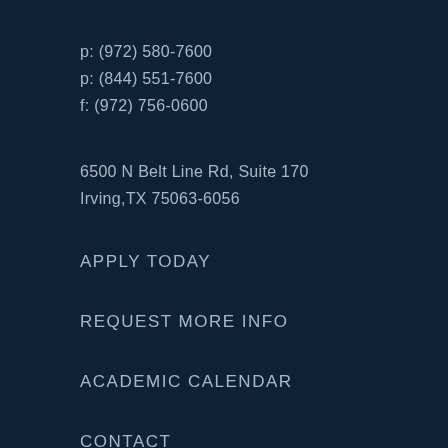p: (972) 580-7600
p: (844) 551-7600
f: (972) 756-0600
6500 N Belt Line Rd, Suite 170
Irving,TX 75063-6056
APPLY TODAY
REQUEST MORE INFO
ACADEMIC CALENDAR
CONTACT